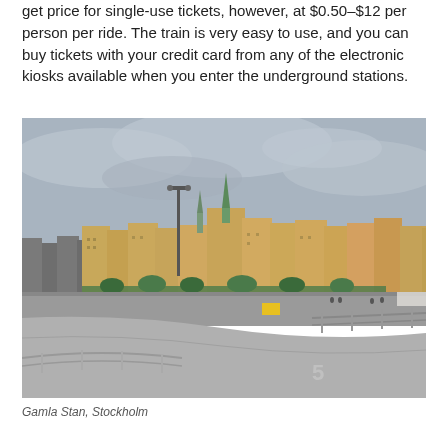get price for single-use tickets, however, at $0.50–$12 per person per ride. The train is very easy to use, and you can buy tickets with your credit card from any of the electronic kiosks available when you enter the underground stations.
[Figure (photo): A photograph of Gamla Stan, Stockholm, viewed from a curved road/bridge with metal railings in the foreground. The historic city skyline with colorful buildings, church spires, and an overcast sky is visible in the background.]
Gamla Stan, Stockholm